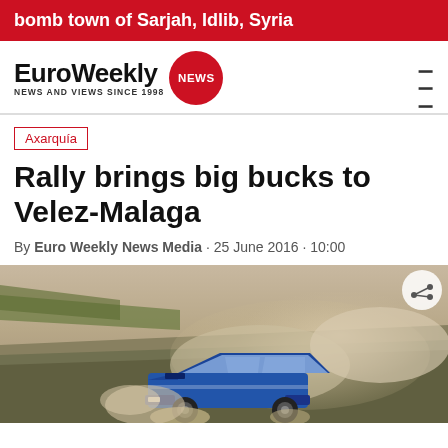bomb town of Sarjah, Idlib, Syria
[Figure (logo): EuroWeekly NEWS logo with red circle badge and tagline NEWS AND VIEWS SINCE 1998]
Axarquía
Rally brings big bucks to Velez-Malaga
By Euro Weekly News Media · 25 June 2016 · 10:00
[Figure (photo): A blue rally car (Subaru Impreza WRC style) kicking up dust clouds on a dirt track, viewed from a low angle. Dusty, smoky atmosphere with grass embankment in background.]